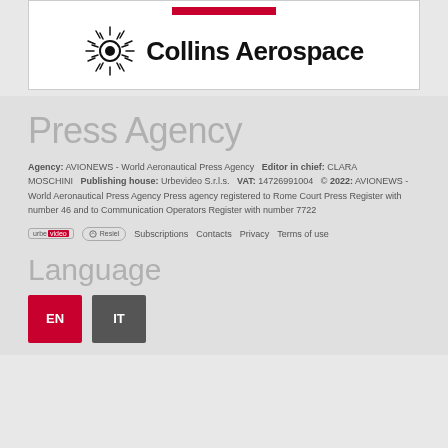[Figure (logo): Collins Aerospace logo with sun/starburst icon and bold text]
Press Agency
Agency: AVIONEWS - World Aeronautical Press Agency   Editor in chief: CLARA MOSCHINI   Publishing house: Urbevideo S.r.l.s.   VAT: 14726991004   © 2022: AVIONEWS - World Aeronautical Press Agency Press agency registered to Rome Court Press Register with number 46 and to Communication Operators Register with number 7722
urbevideo  Resiel  Subscriptions  Contacts  Privacy  Terms of use
Language
EN  IT